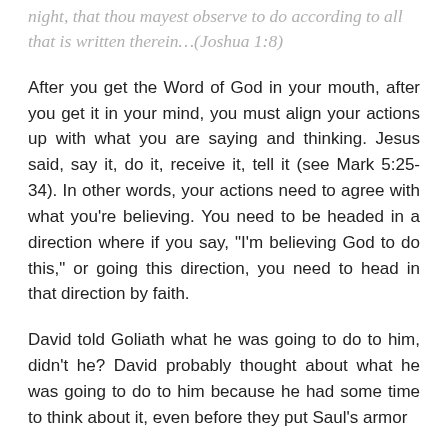night, that thou mayest observe to do according to all that is written therein…(Joshua 1:8)
After you get the Word of God in your mouth, after you get it in your mind, you must align your actions up with what you are saying and thinking. Jesus said, say it, do it, receive it, tell it (see Mark 5:25-34). In other words, your actions need to agree with what you're believing. You need to be headed in a direction where if you say, "I'm believing God to do this," or going this direction, you need to head in that direction by faith.
David told Goliath what he was going to do to him, didn't he? David probably thought about what he was going to do to him because he had some time to think about it, even before they put Saul's armor